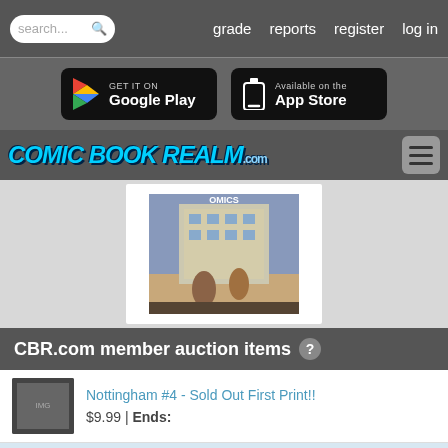search... | grade | reports | register | log in
[Figure (screenshot): App store buttons: Get it on Google Play and Available on the App Store]
[Figure (logo): Comic Book Realm .com logo with hamburger menu icon]
[Figure (photo): Comic book cover image partially visible]
CBR.com member auction items ?
Nottingham #4 - Sold Out First Print!! $9.99 | Ends:
Justice League Of America #71 Martian Ma